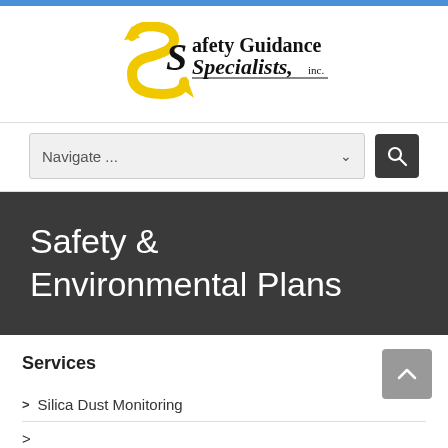[Figure (logo): Safety Guidance Specialists, inc. logo with yellow S-shaped arrow graphic and serif/italic text]
Navigate ...
Safety & Environmental Plans
Services
Silica Dust Monitoring